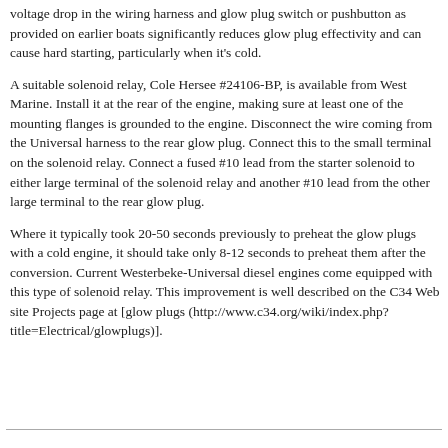voltage drop in the wiring harness and glow plug switch or pushbutton as provided on earlier boats significantly reduces glow plug effectivity and can cause hard starting, particularly when it's cold.
A suitable solenoid relay, Cole Hersee #24106-BP, is available from West Marine. Install it at the rear of the engine, making sure at least one of the mounting flanges is grounded to the engine. Disconnect the wire coming from the Universal harness to the rear glow plug. Connect this to the small terminal on the solenoid relay. Connect a fused #10 lead from the starter solenoid to either large terminal of the solenoid relay and another #10 lead from the other large terminal to the rear glow plug.
Where it typically took 20-50 seconds previously to preheat the glow plugs with a cold engine, it should take only 8-12 seconds to preheat them after the conversion. Current Westerbeke-Universal diesel engines come equipped with this type of solenoid relay. This improvement is well described on the C34 Web site Projects page at [glow plugs (http://www.c34.org/wiki/index.php?title=Electrical/glowplugs)].